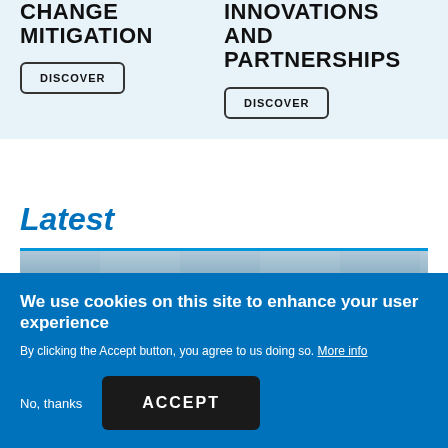CHANGE MITIGATION
INNOVATIONS AND PARTNERSHIPS
DISCOVER
DISCOVER
Latest
[Figure (photo): Blue-tinted photographic image strip, appears to show a sky or metallic surface]
We use cookies on this site to enhance your user experience
By clicking the Accept button, you agree to us doing so. More info
No, thanks
ACCEPT